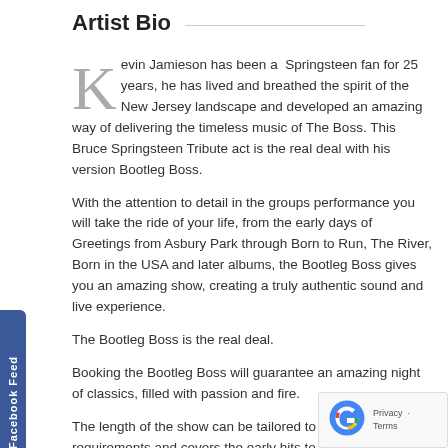Artist Bio
Kevin Jamieson has been a Springsteen fan for 25 years, he has lived and breathed the spirit of the New Jersey landscape and developed an amazing way of delivering the timeless music of The Boss. This Bruce Springsteen Tribute act is the real deal with his version Bootleg Boss.
With the attention to detail in the groups performance you will take the ride of your life, from the early days of Greetings from Asbury Park through Born to Run, The River, Born in the USA and later albums, the Bootleg Boss gives you an amazing show, creating a truly authentic sound and live experience.
The Bootleg Boss is the real deal.
Booking the Bootleg Boss will guarantee an amazing night of classics, filled with passion and fire.
The length of the show can be tailored to meet your requirements and covers the early hits to modern day classics in a greatest hits extravaganza. It truly is a professional e